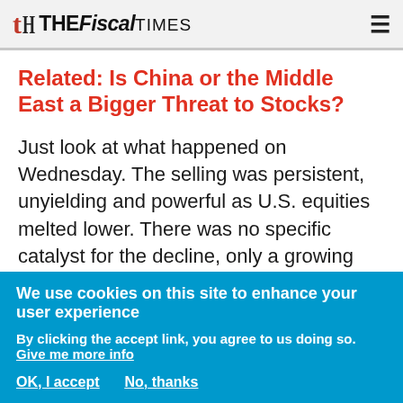The Fiscal Times
Related: Is China or the Middle East a Bigger Threat to Stocks?
Just look at what happened on Wednesday. The selling was persistent, unyielding and powerful as U.S. equities melted lower. There was no specific catalyst for the decline, only a growing sense of fear that policymakers both here and overseas have lost control of the situation: Energy prices keep weakening, currency volatility increases and the
We use cookies on this site to enhance your user experience
By clicking the accept link, you agree to us doing so. Give me more info
OK, I accept   No, thanks